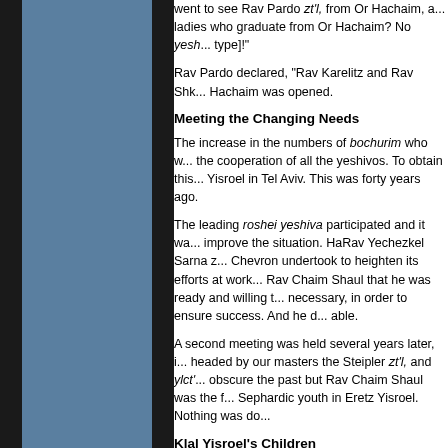went to see Rav Pardo zt'l, from Or Hachaim, a... ladies who graduate from Or Hachaim? No yesh... type]!"
Rav Pardo declared, "Rav Karelitz and Rav Shk... Hachaim was opened.
Meeting the Changing Needs
The increase in the numbers of bochurim who w... the cooperation of all the yeshivos. To obtain this... Yisroel in Tel Aviv. This was forty years ago.
The leading roshei yeshiva participated and it wa... improve the situation. HaRav Yechezkel Sarna z... Chevron undertook to heighten its efforts at work... Rav Chaim Shaul that he was ready and willing t... necessary, in order to ensure success. And he d... able.
A second meeting was held several years later, i... headed by our masters the Steipler zt'l, and ylct'... obscure the past but Rav Chaim Shaul was the f... Sephardic youth in Eretz Yisroel. Nothing was do...
Klal Yisroel's Children
I'll never forget the bochur who was found sitting... Shaul's home. He complained that he had not be... Chaim Shaul enquired at the yeshiva and it trans...